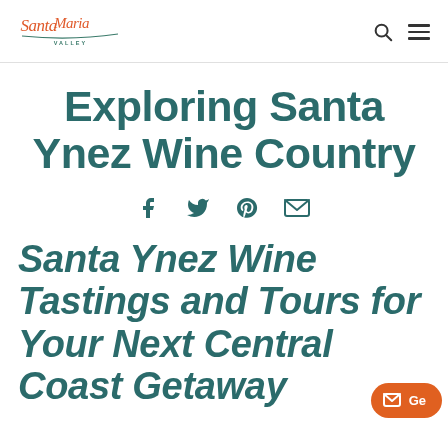Santa Maria Valley
Exploring Santa Ynez Wine Country
[Figure (infographic): Social share icons: Facebook, Twitter, Pinterest, Email]
Santa Ynez Wine Tastings and Tours for Your Next Central Coast Getaway